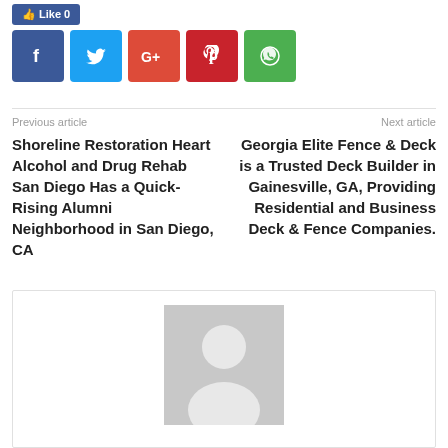[Figure (other): Facebook Like button (blue)]
[Figure (other): Social share icons: Facebook (blue), Twitter (cyan), Google+ (orange-red), Pinterest (dark red), WhatsApp (green)]
Previous article
Next article
Shoreline Restoration Heart Alcohol and Drug Rehab San Diego Has a Quick-Rising Alumni Neighborhood in San Diego, CA
Georgia Elite Fence & Deck is a Trusted Deck Builder in Gainesville, GA, Providing Residential and Business Deck & Fence Companies.
[Figure (photo): Default avatar/author placeholder image with grey background and silhouette person icon]